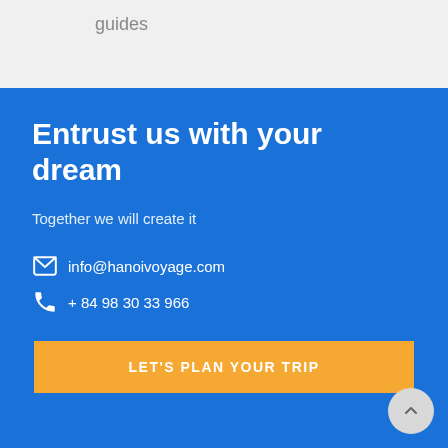guides
Entrust us with your dream
Together we will create it
info@hanoivoyage.com
+ 84 98 30 33 966
LET'S PLAN YOUR TRIP